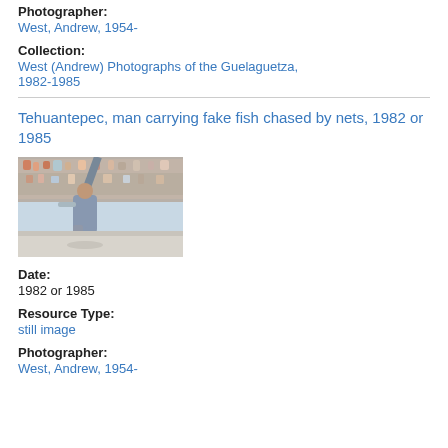Photographer:
West, Andrew, 1954-
Collection:
West (Andrew) Photographs of the Guelaguetza, 1982-1985
Tehuantepec, man carrying fake fish chased by nets, 1982 or 1985
[Figure (photo): Photograph showing a man carrying fake fish being chased by nets at the Guelaguetza festival, with a crowd visible in the background.]
Date:
1982 or 1985
Resource Type:
still image
Photographer:
West, Andrew, 1954-